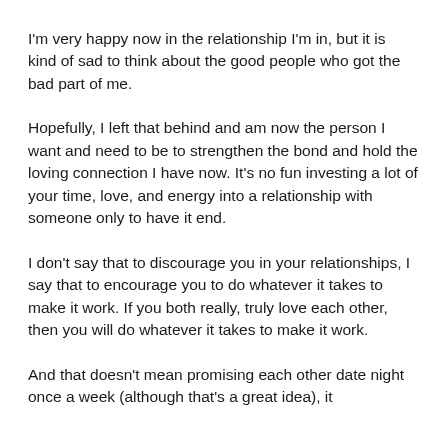I'm very happy now in the relationship I'm in, but it is kind of sad to think about the good people who got the bad part of me.
Hopefully, I left that behind and am now the person I want and need to be to strengthen the bond and hold the loving connection I have now. It's no fun investing a lot of your time, love, and energy into a relationship with someone only to have it end.
I don't say that to discourage you in your relationships, I say that to encourage you to do whatever it takes to make it work. If you both really, truly love each other, then you will do whatever it takes to make it work.
And that doesn't mean promising each other date night once a week (although that's a great idea), it